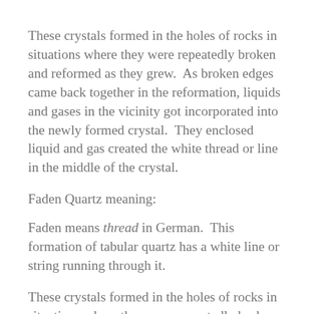These crystals formed in the holes of rocks in situations where they were repeatedly broken and reformed as they grew.  As broken edges came back together in the reformation, liquids and gases in the vicinity got incorporated into the newly formed crystal.  They enclosed liquid and gas created the white thread or line in the middle of the crystal.
Faden Quartz meaning:
Faden means thread in German.  This formation of tabular quartz has a white line or string running through it.
These crystals formed in the holes of rocks in situations where they were repeatedly broken and reformed as they grew.  As broken edges came back together...